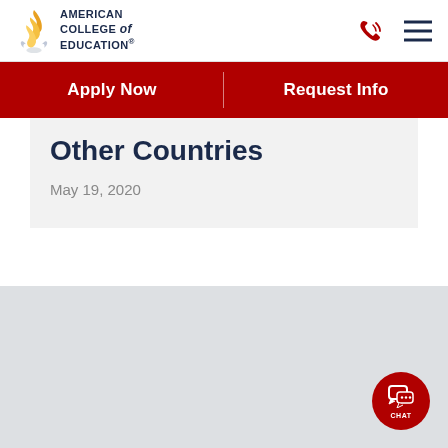American College of Education
Apply Now | Request Info
Other Countries
May 19, 2020